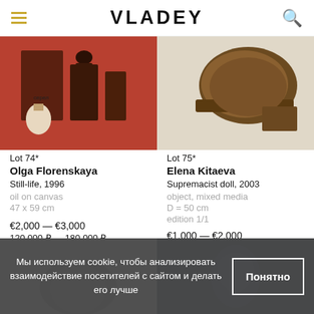VLADEY
[Figure (photo): Painting closeup on red/terracotta background showing dark figures, bottles]
[Figure (photo): Sculpture/object - dark brown circular hat-like form on white background]
Lot 74*
Olga Florenskaya
Still-life, 1996
oil on canvas
47 x 59 cm
€2,000 — €3,000
120,000 ₽ — 180,000 ₽
Lot 75*
Elena Kitaeva
Supremacist doll, 2003
object, mixed media
D = 50 cm
edition 1/1
€1,000 — €2,000
60,000 ₽ — 120,000 ₽
Sold
[Figure (photo): Lower left thumbnail - gray toned image, animal figure]
[Figure (photo): Lower right thumbnail - dark blue image with figure]
Мы используем cookie, чтобы анализировать взаимодействие посетителей с сайтом и делать его лучше
Понятно